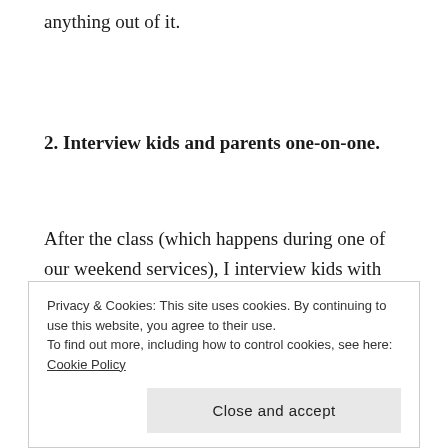anything out of it.
2. Interview kids and parents one-on-one.
After the class (which happens during one of our weekend services), I interview kids with one of their parents that week. I have them
Privacy & Cookies: This site uses cookies. By continuing to use this website, you agree to their use.
To find out more, including how to control cookies, see here: Cookie Policy
Close and accept